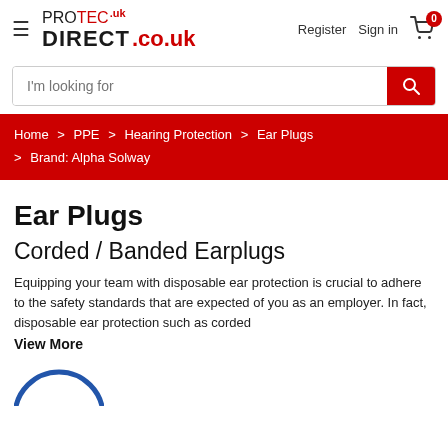[Figure (logo): ProTec Direct logo with red and black text]
Register   Sign in
I'm looking for
Home > PPE > Hearing Protection > Ear Plugs > Brand: Alpha Solway
Ear Plugs
Corded / Banded Earplugs
Equipping your team with disposable ear protection is crucial to adhere to the safety standards that are expected of you as an employer. In fact, disposable ear protection such as corded
View More